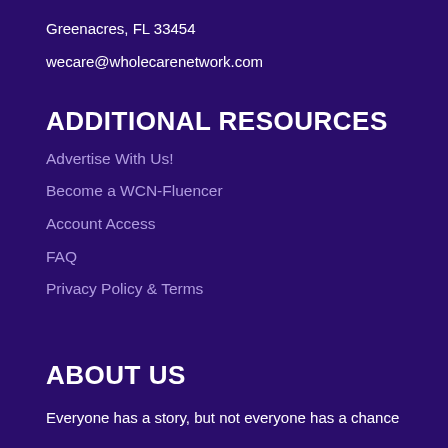Greenacres, FL 33454
wecare@wholecarenetwork.com
ADDITIONAL RESOURCES
Advertise With Us!
Become a WCN-Fluencer
Account Access
FAQ
Privacy Policy & Terms
ABOUT US
Everyone has a story, but not everyone has a chance